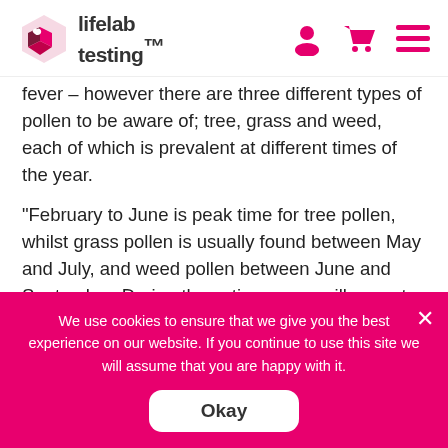lifelab testing
fever – however there are three different types of pollen to be aware of; tree, grass and weed, each of which is prevalent at different times of the year.
“February to June is peak time for tree pollen, whilst grass pollen is usually found between May and July, and weed pollen between June and September. During these times, you will expect to experience symptoms outdoors, however there
We use cookies to ensure that we give you the best experience on our website. If you continue to use this site we will assume that you are happy with it.
Okay